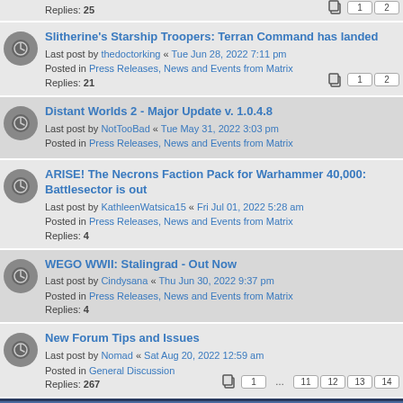Replies: 25 [pagination: 1 2]
Slitherine's Starship Troopers: Terran Command has landed
Last post by thedoctorking « Tue Jun 28, 2022 7:11 pm
Posted in Press Releases, News and Events from Matrix
Replies: 21 [pagination: 1 2]
Distant Worlds 2 - Major Update v. 1.0.4.8
Last post by NotTooBad « Tue May 31, 2022 3:03 pm
Posted in Press Releases, News and Events from Matrix
ARISE! The Necrons Faction Pack for Warhammer 40,000: Battlesector is out
Last post by KathleenWatsica15 « Fri Jul 01, 2022 5:28 am
Posted in Press Releases, News and Events from Matrix
Replies: 4
WEGO WWII: Stalingrad - Out Now
Last post by Cindysana « Thu Jun 30, 2022 9:37 pm
Posted in Press Releases, News and Events from Matrix
Replies: 4
New Forum Tips and Issues
Last post by Nomad « Sat Aug 20, 2022 12:59 am
Posted in General Discussion
Replies: 267 [pagination: 1 ... 11 12 13 14]
Topics
Totally Lost and Confused
Last post by Gilmer « Wed Sep 17, 2014 8:51 pm
Replies: 29 [pagination: 1 2]